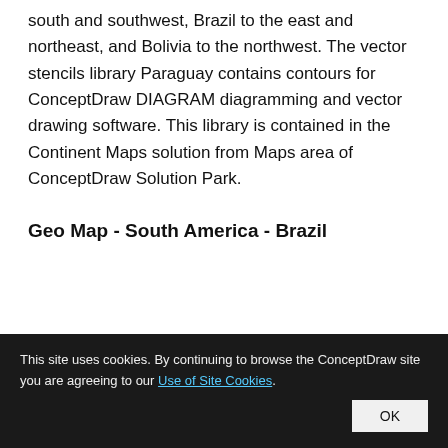south and southwest, Brazil to the east and northeast, and Bolivia to the northwest. The vector stencils library Paraguay contains contours for ConceptDraw DIAGRAM diagramming and vector drawing software. This library is contained in the Continent Maps solution from Maps area of ConceptDraw Solution Park.
Geo Map - South America - Brazil
This site uses cookies. By continuing to browse the ConceptDraw site you are agreeing to our Use of Site Cookies.